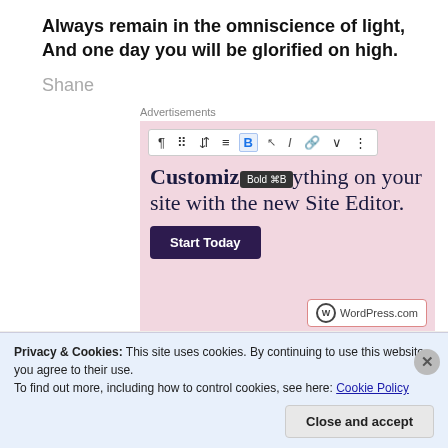Always remain in the omniscience of light,
And one day you will be glorified on high.
Shane
[Figure (screenshot): WordPress.com advertisement screenshot showing a text editor toolbar with Bold button highlighted and tooltip 'Bold ⌘B', headline 'Customize everything on your site with the new Site Editor.', a 'Start Today' button, and WordPress.com logo at the bottom on a pink background.]
Privacy & Cookies: This site uses cookies. By continuing to use this website, you agree to their use.
To find out more, including how to control cookies, see here: Cookie Policy
Close and accept